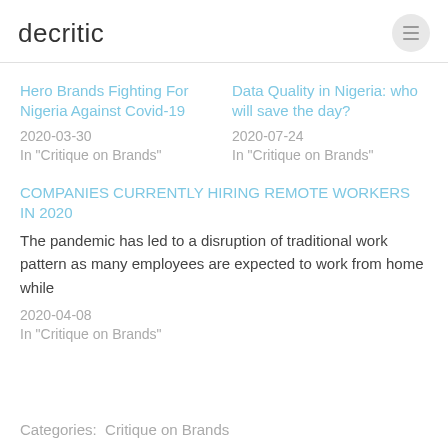decritic
Hero Brands Fighting For Nigeria Against Covid-19
2020-03-30
In "Critique on Brands"
Data Quality in Nigeria: who will save the day?
2020-07-24
In "Critique on Brands"
COMPANIES CURRENTLY HIRING REMOTE WORKERS IN 2020
The pandemic has led to a disruption of traditional work pattern as many employees are expected to work from home while
2020-04-08
In "Critique on Brands"
Categories:  Critique on Brands